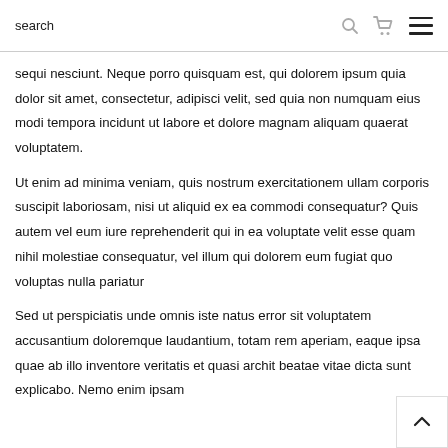search
sequi nesciunt. Neque porro quisquam est, qui dolorem ipsum quia dolor sit amet, consectetur, adipisci velit, sed quia non numquam eius modi tempora incidunt ut labore et dolore magnam aliquam quaerat voluptatem.
Ut enim ad minima veniam, quis nostrum exercitationem ullam corporis suscipit laboriosam, nisi ut aliquid ex ea commodi consequatur? Quis autem vel eum iure reprehenderit qui in ea voluptate velit esse quam nihil molestiae consequatur, vel illum qui dolorem eum fugiat quo voluptas nulla pariatur
Sed ut perspiciatis unde omnis iste natus error sit voluptatem accusantium doloremque laudantium, totam rem aperiam, eaque ipsa quae ab illo inventore veritatis et quasi archit beatae vitae dicta sunt explicabo. Nemo enim ipsam